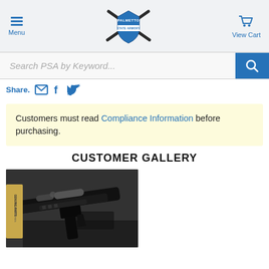Menu | Palmetto State Armory | View Cart
Search PSA by Keyword...
Share.
Customers must read Compliance Information before purchasing.
CUSTOMER GALLERY
[Figure (photo): Photo of a firearm/AR-style rifle with attachments and accessories including a flashlight, laid in a case with a 'Genuine Parts' box visible]